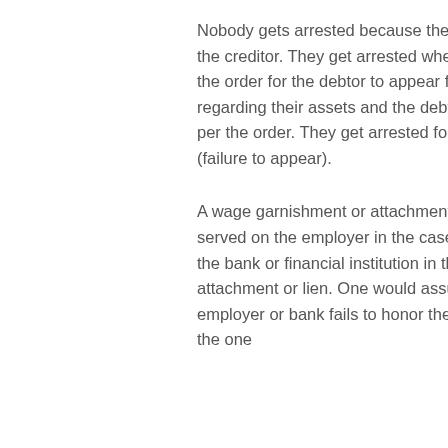Nobody gets arrested because the court rules in favor of the creditor. They get arrested when the creditor obtains the order for the debtor to appear for examination regarding their assets and the debtor doesn't appear as per the order. They get arrested for contempt of court (failure to appear).
A wage garnishment or attachment of a bank account is served on the employer in the case of a garnishment and the bank or financial institution in the case of an attachment or lien. One would assume that if the employer or bank fails to honor the order THEY could be the one